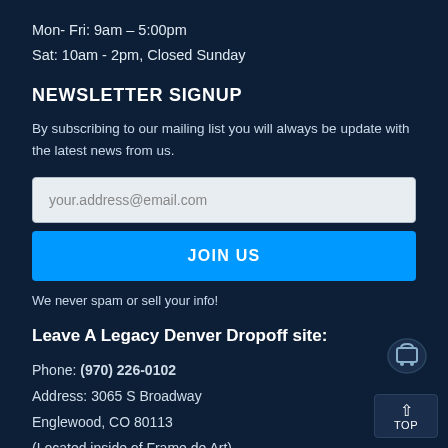Mon- Fri: 9am – 5:00pm
Sat: 10am - 2pm, Closed Sunday
NEWSLETTER SIGNUP
By subscribing to our mailing list you will always be update with the latest news from us.
your.address@email.com
JOIN US
We never spam or sell your info!
Leave A Legacy Denver Dropoff site:
Phone: (970) 226-0102
Address: 3065 S Broadway
Englewood, CO 80113
(Located inside of Frame de Art)